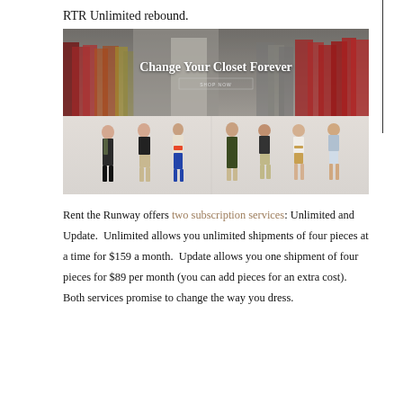RTR Unlimited rebound.
[Figure (photo): Rent the Runway promotional image showing a rack of colorful clothes with text 'Change Your Closet Forever' overlaid, and below it seven fashion models in various outfits.]
Rent the Runway offers two subscription services: Unlimited and Update.  Unlimited allows you unlimited shipments of four pieces at a time for $159 a month.  Update allows you one shipment of four pieces for $89 per month (you can add pieces for an extra cost).  Both services promise to change the way you dress.